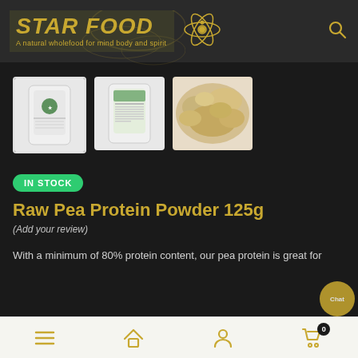[Figure (logo): Star Food logo with golden italic bold text 'STAR FOOD', tagline 'A natural wholefood for mind body and spirit', and golden atom graphic on dark background]
[Figure (photo): Three product thumbnail images: first (selected with white border) showing a white product pouch with green logo, second showing back of the same pouch, third showing loose tan/beige pea protein powder]
IN STOCK
Raw Pea Protein Powder 125g
(Add your review)
With a minimum of 80% protein content, our pea protein is great for